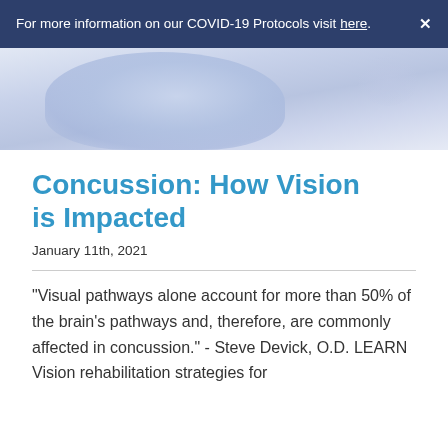For more information on our COVID-19 Protocols visit here.
[Figure (photo): Partial view of a person's head/neck area with a soft blue-white gradient background, suggesting a medical or health context.]
Concussion: How Vision is Impacted
January 11th, 2021
"Visual pathways alone account for more than 50% of the brain's pathways and, therefore, are commonly affected in concussion." - Steve Devick, O.D. LEARN Vision rehabilitation strategies for